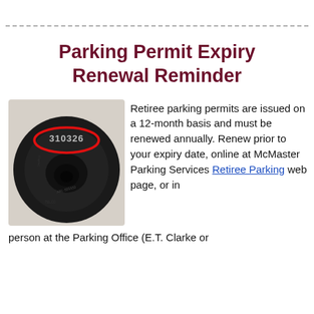Parking Permit Expiry Renewal Reminder
[Figure (photo): Photo of a black circular parking permit disc with number 310326 circled in red at the top]
Retiree parking permits are issued on a 12-month basis and must be renewed annually. Renew prior to your expiry date, online at McMaster Parking Services Retiree Parking web page, or in person at the Parking Office (E.T. Clarke or